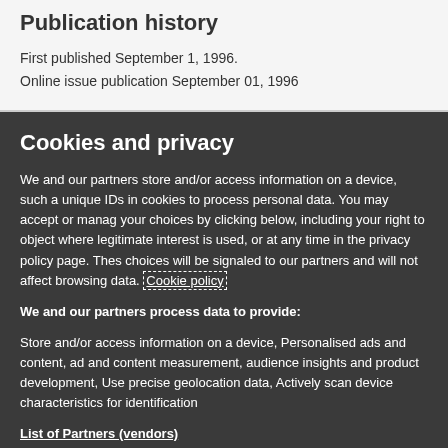Publication history
First published September 1, 1996.
Online issue publication September 01, 1996
Cookies and privacy
We and our partners store and/or access information on a device, such as unique IDs in cookies to process personal data. You may accept or manage your choices by clicking below, including your right to object where legitimate interest is used, or at any time in the privacy policy page. These choices will be signaled to our partners and will not affect browsing data. Cookie policy
We and our partners process data to provide:
Store and/or access information on a device, Personalised ads and content, ad and content measurement, audience insights and product development, Use precise geolocation data, Actively scan device characteristics for identification
List of Partners (vendors)
I Accept